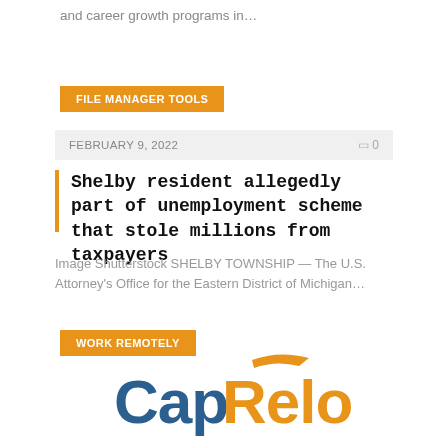and career growth programs in…
FILE MANAGER TOOLS
FEBRUARY 9, 2022   🗅 0
Shelby resident allegedly part of unemployment scheme that stole millions from taxpayers
Image Shutterstock SHELBY TOWNSHIP — The U.S. Attorney's Office for the Eastern District of Michigan…
WORK REMOTELY
[Figure (logo): CapRelo company logo with an orange swoosh arrow above the text. 'Cap' is in dark blue and 'Relo' is in orange.]